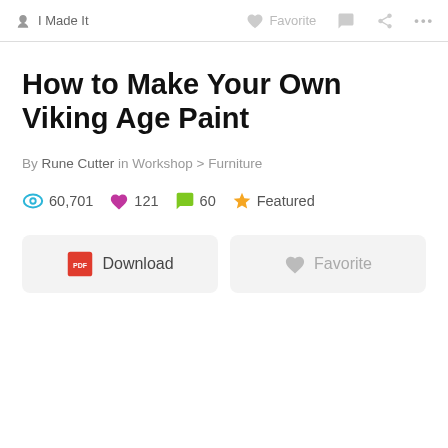I Made It   Favorite   ... ...
How to Make Your Own Viking Age Paint
By Rune Cutter in Workshop > Furniture
60,701  121  60  Featured
Download   Favorite